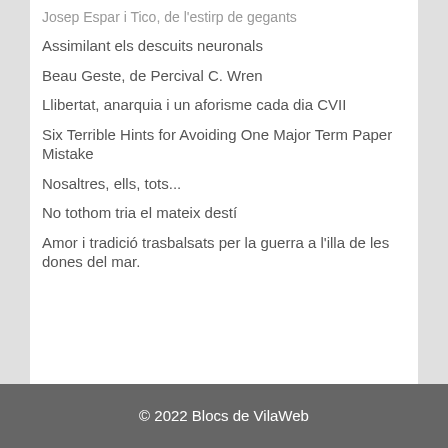Josep Espar i Tico, de l'estirp de gegants
Assimilant els descuits neuronals
Beau Geste, de Percival C. Wren
Llibertat, anarquia i un aforisme cada dia CVII
Six Terrible Hints for Avoiding One Major Term Paper Mistake
Nosaltres, ells, tots...
No tothom tria el mateix destí
Amor i tradició trasbalsats per la guerra a l'illa de les dones del mar.
© 2022 Blocs de VilaWeb